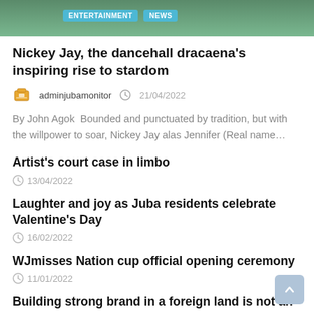[Figure (photo): Top portion of an article page showing a green/teal background with two category tags: ENTERTAINMENT and NEWS]
Nickey Jay, the dancehall dracaena's inspiring rise to stardom
adminjubamonitor   21/04/2022
By John Agok  Bounded and punctuated by tradition, but with the willpower to soar, Nickey Jay alas Jennifer (Real name...
Artist's court case in limbo
13/04/2022
Laughter and joy as Juba residents celebrate Valentine's Day
16/02/2022
WJmisses Nation cup official opening ceremony
11/01/2022
Building strong brand in a foreign land is not an